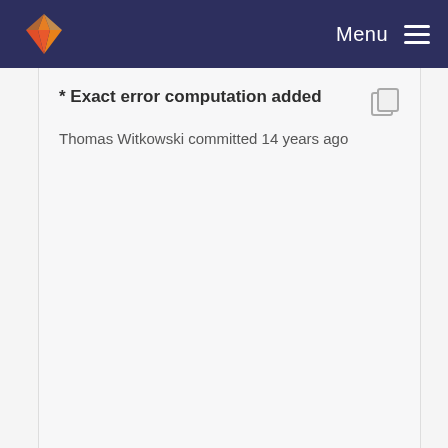Menu
* Exact error computation added
Thomas Witkowski committed 14 years ago